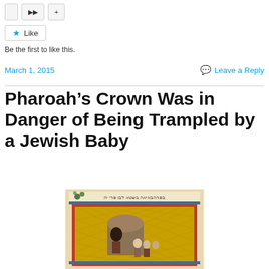Like
Be the first to like this.
March 1, 2015
Leave a Reply
Pharoah’s Crown Was in Danger of Being Trampled by a Jewish Baby
[Figure (illustration): Medieval illuminated manuscript illustration showing a scene with figures, with Hebrew text at the top, decorative gold background and ornate red and blue border framing.]